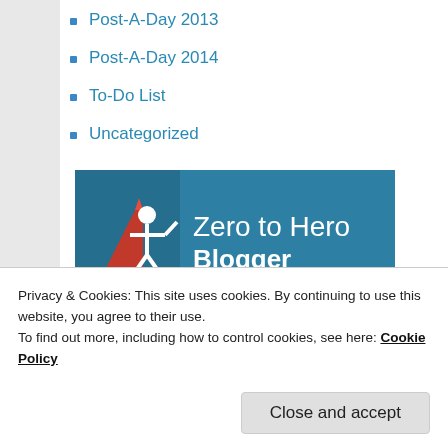Post-A-Day 2013
Post-A-Day 2014
To-Do List
Uncategorized
[Figure (illustration): Zero to Hero Blogger badge — blue rectangular banner with white silhouette figure and red rocket, text reads 'Zero to Hero Blogger']
[Figure (other): Broken image placeholder in a bordered box]
Privacy & Cookies: This site uses cookies. By continuing to use this website, you agree to their use.
To find out more, including how to control cookies, see here: Cookie Policy
Close and accept